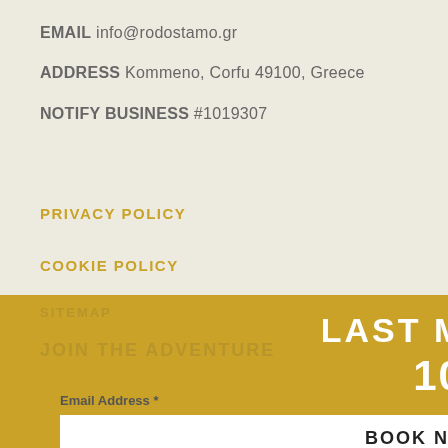EMAIL info@rodostamo.gr
ADDRESS Kommeno, Corfu 49100, Greece
NOTIFY BUSINESS  #1019307
PRIVACY POLICY
COOKIE POLICY
SITEMAP
CLOSE
LAST MINUTE DEAL
JOIN THE ADVENTURE
10% OFF
Email Address *
BOOK NOW →